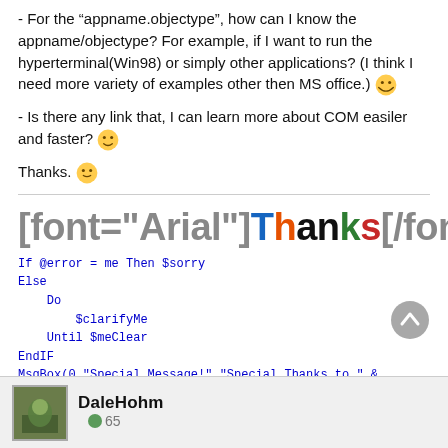- For the "appname.objectype", how can I know the appname/objectype? For example, if I want to run the hyperterminal(Win98) or simply other applications? (I think I need more variety of examples other then MS office.) 😊
- Is there any link that, I can learn more about COM easiler and faster? 🙂
Thanks. 🤔
[font="Arial"]Thanks[/font]
If @error = me Then $sorry
Else
    Do
        $clarifyMe
    Until $meClear
EndIF
MsgBox(0,"Special Message!","Special Thanks to " & $allHadReplied,$Forever)
DaleHohm
65